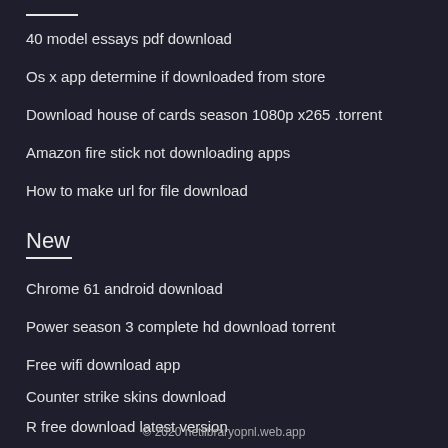40 model essays pdf download
Os x app determine if downloaded from store
Download house of cards season 1080p x265 .torrent
Amazon fire stick not downloading apps
How to make url for file download
New
Chrome 61 android download
Power season 3 complete hd download torrent
Free wifi download app
Counter strike skins download
R free download latest version
© 2020 netlibraryopnl.web.app